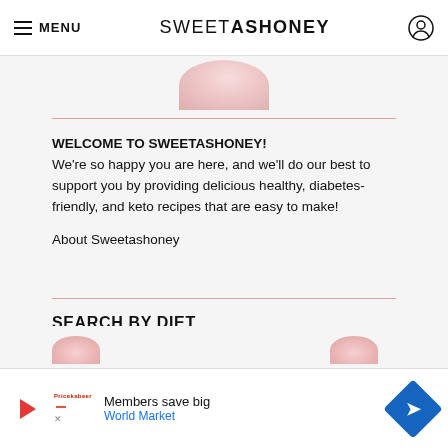≡ MENU   SWEETASHONEY 🔘
[Figure (photo): Partial circular food/recipe image visible at top of page]
WELCOME TO SWEETASHONEY!
We're so happy you are here, and we'll do our best to support you by providing delicious healthy, diabetes-friendly, and keto recipes that are easy to make!

About Sweetashoney
SEARCH BY DIET
[Figure (photo): Partial circular food images visible at the bottom of page]
[Figure (other): Advertisement banner: Members save big - World Market with a blue diamond arrow icon]